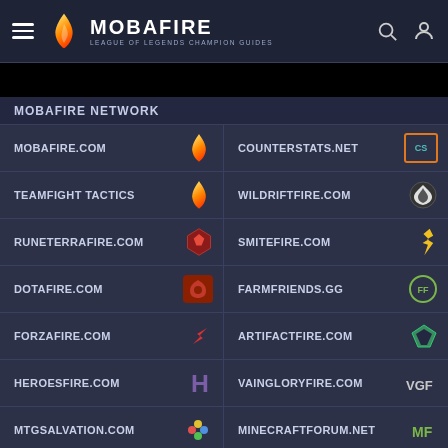MOBAFIRE — LEAGUE OF LEGENDS CHAMPION GUIDES
MOBAFIRE NETWORK
MOBAFIRE.COM
COUNTERSTATS.NET
TEAMFIGHT TACTICS
WILDRIFTFIRE.COM
RUNETERRAFIRE.COM
SMITEFIRE.COM
DOTAFIRE.COM
FARMFRIENDS.GG
FORZAFIRE.COM
ARTIFACTFIRE.COM
HEROESFIRE.COM
VAINGLORYFIRE.COM
MTGSALVATION.COM
MINECRAFTFORUM.NET